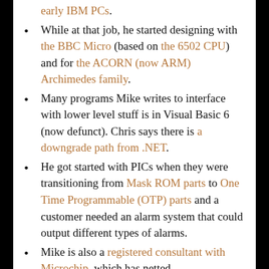early IBM PCs.
While at that job, he started designing with the BBC Micro (based on the 6502 CPU) and for the ACORN (now ARM) Archimedes family.
Many programs Mike writes to interface with lower level stuff is in Visual Basic 6 (now defunct). Chris says there is a downgrade path from .NET.
He got started with PICs when they were transitioning from Mask ROM parts to One Time Programmable (OTP) parts and a customer needed an alarm system that could output different types of alarms.
Mike is also a registered consultant with Microchip, which has netted